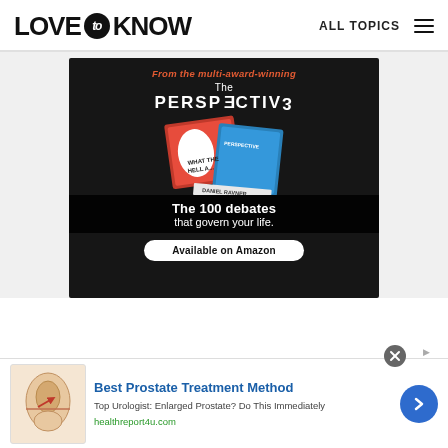LOVE to KNOW | ALL TOPICS
[Figure (illustration): Advertisement banner for 'The Perspective' book by Daniel Ravner. Dark background with red and blue book cover showing 'What The Hell...' text. Tagline: 'From the multi-award-winning The PERSPECTIVE. The 100 debates that govern your life. Available on Amazon.']
[Figure (illustration): Advertisement for 'Best Prostate Treatment Method' from healthreport4u.com with anatomical illustration, text: 'Top Urologist: Enlarged Prostate? Do This Immediately', with blue arrow button.]